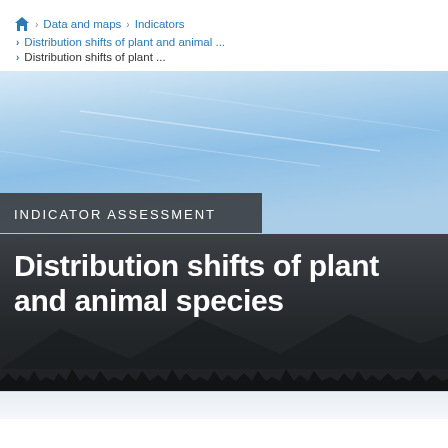🏠 > Data and maps > Indicators > Distribution shifts of plant and animal ... > Distribution shifts of plant ...
[Figure (photo): Hero image showing a blue sky with light clouds and contrails, transitioning to a dark mountain and treeline silhouette at the bottom. An 'INDICATOR ASSESSMENT' badge overlays the lower-left of the sky portion.]
Distribution shifts of plant and animal species
[Figure (photo): Bottom strip showing the beginning of another image or panel, light gray/white background]